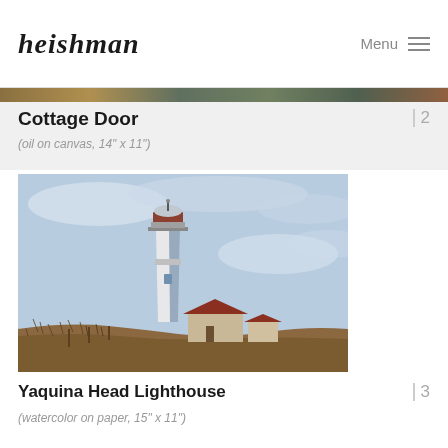heishman — Menu
Cottage Door
(oil on canvas, 14" x 11")
[Figure (illustration): Watercolor painting of Yaquina Head Lighthouse — a tall white and dark lighthouse tower with a red-roofed keeper's house in the foreground, set against a blue sky with wispy clouds.]
Yaquina Head Lighthouse
(watercolor on paper, 15" x 11")